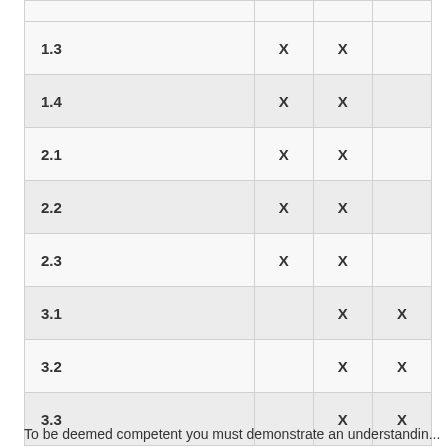|  |  |  |  |
| --- | --- | --- | --- |
|  |  |  |  |
| 1.3 | X | X |  |
| 1.4 | X | X |  |
| 2.1 | X | X |  |
| 2.2 | X | X |  |
| 2.3 | X | X |  |
| 3.1 |  | X | X |
| 3.2 |  | X | X |
| 3.3 |  | X | X |
To be deemed competent you must demonstrate an understanding...